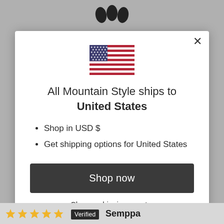[Figure (screenshot): Modal dialog on an e-commerce website. Contains a US flag, shipping notification text, bullet list items, a shop now button, and a change shipping country link. Background shows greyed-out website with logo at top.]
All Mountain Style ships to United States
Shop in USD $
Get shipping options for United States
Shop now
Change shipping country
Verified  Semppa